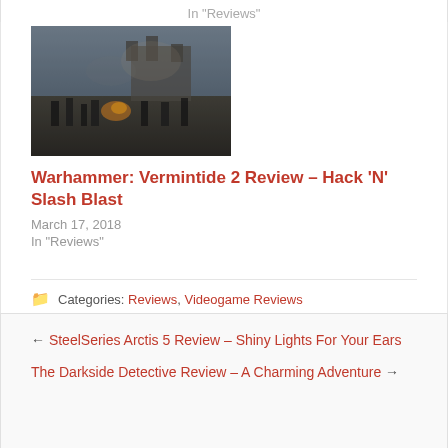In "Reviews"
[Figure (photo): Screenshot from Warhammer: Vermintide 2, showing a battle scene with soldiers fighting in a dark, smoky environment with a castle in the background.]
Warhammer: Vermintide 2 Review – Hack 'N' Slash Blast
March 17, 2018
In "Reviews"
Categories: Reviews, Videogame Reviews
Tagged as: Aven Colony, pc, ps4, review, xbox.one
← SteelSeries Arctis 5 Review – Shiny Lights For Your Ears
The Darkside Detective Review – A Charming Adventure →